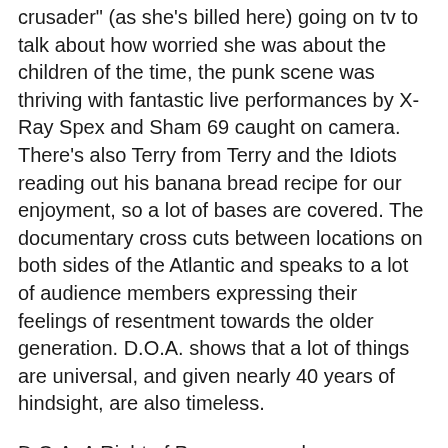crusader" (as she's billed here) going on tv to talk about how worried she was about the children of the time, the punk scene was thriving with fantastic live performances by X-Ray Spex and Sham 69 caught on camera. There's also Terry from Terry and the Idiots reading out his banana bread recipe for our enjoyment, so a lot of bases are covered. The documentary cross cuts between locations on both sides of the Atlantic and speaks to a lot of audience members expressing their feelings of resentment towards the older generation. D.O.A. shows that a lot of things are universal, and given nearly 40 years of hindsight, are also timeless.
D.O.A. A Right of Passage may be a documentary about punk, but in its presentation is it a punk documentary? Passive observers for the majority of the performances, the one occasion where the documentarian's question is audible, asking an unruly youth with a giant X on his face at a Sex Pistols gig "what do they sing?", ends up with them being spat on. The smartest thing director Lech Kowalski chose to do was not just focus on the Sex Pistols as his subject, although this was possibly a choice made out of necessity due to how hard it would have been to capture usable